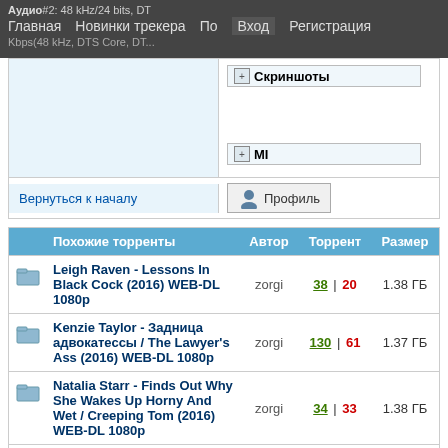Аудио#2: 48 kHz/24 bits, DT Главная   Новинки трекера   По   Вход   Регистрация Kbps(48 kHz, DTC Core, DT
+ Скриншоты
+ MI
Вернуться к началу
Профиль
|  | Похожие торренты | Автор | Торрент | Размер |
| --- | --- | --- | --- | --- |
| [folder] | Leigh Raven - Lessons In Black Cock (2016) WEB-DL 1080p | zorgi | 38 | 20 | 1.38 ГБ |
| [folder] | Kenzie Taylor - Задница адвокатессы / The Lawyer's Ass (2016) WEB-DL 1080p | zorgi | 130 | 61 | 1.37 ГБ |
| [folder] | Natalia Starr - Finds Out Why She Wakes Up Horny And Wet / Creeping Tom (2016) WEB-DL 1080p | zorgi | 34 | 33 | 1.38 ГБ |
| [folder] | Вспышка / Flash (Сезон 1 , Серия 1- 20 из 20 ) (Роман |  |  |  |